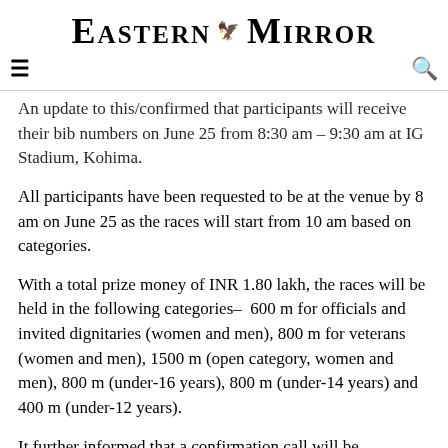EASTERN MIRROR
An update to this/confirmed that participants will receive their bib numbers on June 25 from 8:30 am – 9:30 am at IG Stadium, Kohima.
All participants have been requested to be at the venue by 8 am on June 25 as the races will start from 10 am based on categories.
With a total prize money of INR 1.80 lakh, the races will be held in the following categories– 600 m for officials and invited dignitaries (women and men), 800 m for veterans (women and men), 1500 m (open category, women and men), 800 m (under-16 years), 800 m (under-14 years) and 400 m (under-12 years).
It further informed that a confirmation call will be